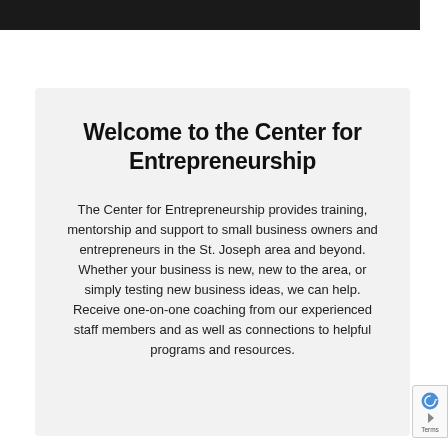[Figure (other): Dark top navigation bar]
Welcome to the Center for Entrepreneurship
The Center for Entrepreneurship provides training, mentorship and support to small business owners and entrepreneurs in the St. Joseph area and beyond. Whether your business is new, new to the area, or simply testing new business ideas, we can help. Receive one-on-one coaching from our experienced staff members and as well as connections to helpful programs and resources.